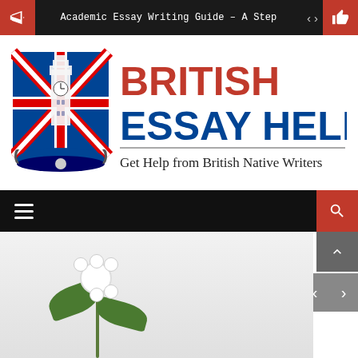Academic Essay Writing Guide – A Step
[Figure (logo): British Essay Help logo with Union Jack flag and Big Ben illustration, red BRITISH ESSAY HELP text, tagline: Get Help from British Native Writers]
[Figure (screenshot): Navigation bar with hamburger menu and search button, followed by partial photo of white flower with green leaves]